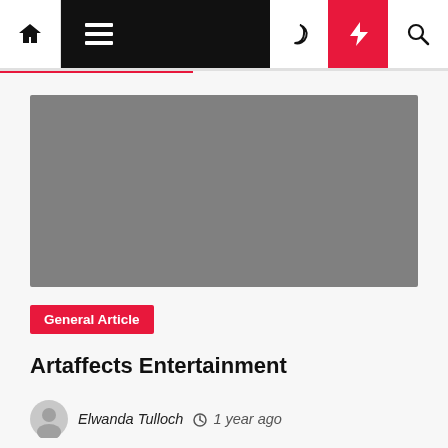Navigation bar with home, menu, dark mode, lightning, and search icons
[Figure (photo): Gray placeholder image for article]
General Article
Artaffects Entertainment
Elwanda Tulloch  1 year ago